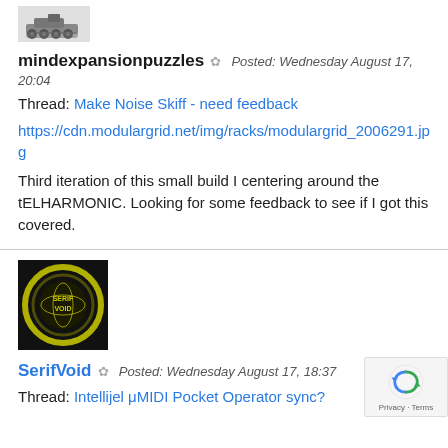[Figure (photo): Small avatar image of a tank/vehicle logo for user mindexpansionpuzzles]
mindexpansionpuzzles ✿ Posted: Wednesday August 17, 20:04
Thread: Make Noise Skiff - need feedback
https://cdn.modulargrid.net/img/racks/modulargrid_2006291.jpg
Third iteration of this small build I centering around the tELHARMONIC. Looking for some feedback to see if I got this covered.
[Figure (photo): Avatar image for SerifVoid: black square with yellow neon ring circle and text SERIF VOID]
SerifVoid ✿ Posted: Wednesday August 17, 18:37
Thread: Intellijel μMIDI Pocket Operator sync?